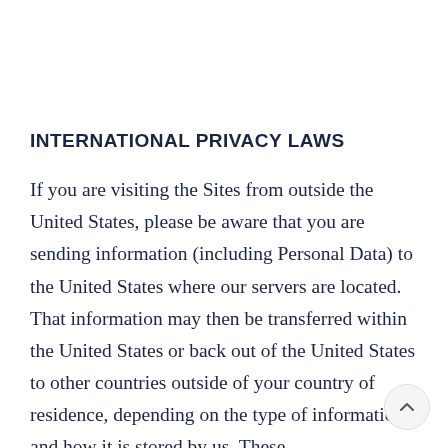INTERNATIONAL PRIVACY LAWS
If you are visiting the Sites from outside the United States, please be aware that you are sending information (including Personal Data) to the United States where our servers are located. That information may then be transferred within the United States or back out of the United States to other countries outside of your country of residence, depending on the type of information and how it is stored by us. These